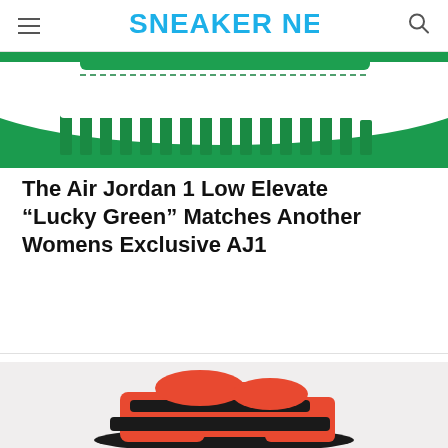SNEAKER NEWS
[Figure (photo): Close-up of an Air Jordan 1 Low Elevate Lucky Green sneaker sole and midsole against a bright green background]
The Air Jordan 1 Low Elevate “Lucky Green” Matches Another Womens Exclusive AJ1
[Figure (photo): Orange and black Adidas sneaker on a light grey background, partially visible at the bottom of the page]